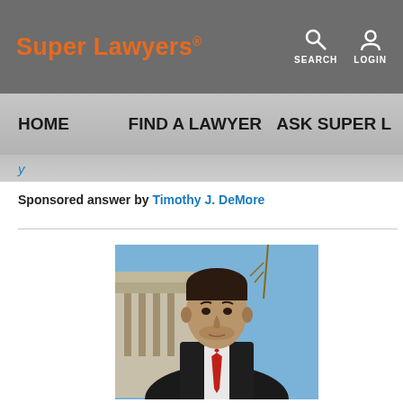Super Lawyers™
SEARCH   LOGIN
HOME   FIND A LAWYER   ASK SUPER L
Sponsored answer by Timothy J. DeMore
[Figure (photo): Professional headshot of attorney Timothy J. DeMore in a dark suit and red tie, with a courthouse building in the background]